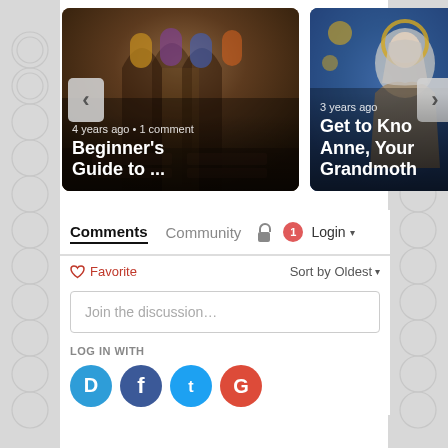[Figure (screenshot): Website carousel showing two article cards. Left card: gothic cathedral interior, '4 years ago • 1 comment', title 'Beginner's Guide to ...'. Right card: medieval saint illustration, '3 years ago', title 'Get to Kno Anne, Your Grandmoth'. Navigation arrows visible.]
Comments
Community
Login
♡ Favorite
Sort by Oldest
Join the discussion...
LOG IN WITH
[Figure (logo): Social login icons: Disqus (blue speech bubble D), Facebook (dark blue F), Twitter (light blue bird T), Google (red G)]